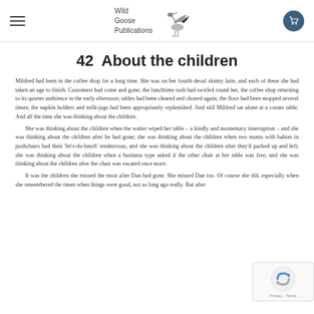Wild Goose Publications
42  About the children
Mildred had been in the coffee shop for a long time. She was on her fourth decaf skinny latte, and each of these she had taken an age to finish. Customers had come and gone; the lunchtime rush had swirled round her, the coffee shop returning to its quieter ambience in the early afternoon; tables had been cleared and cleared again; the floor had been mopped several times; the napkin holders and milk-jugs had been appropriately replenished. And still Mildred sat alone at a corner table. And all the time she was thinking about the children.
    She was thinking about the children when the waiter wiped her table – a kindly and momentary interruption – and she was thinking about the children after he had gone; she was thinking about the children when two mums with babies in pushchairs had their 'let's-do-lunch' rendezvous, and she was thinking about the children after they'd packed up and left; she was thinking about the children when a business type asked if the other chair at her table was free, and she was thinking about the children after the chair was vacated once more.
    It was the children she missed the most after Dan had gone. She missed Dan too. Of course she did, especially when she remembered the times when things were good, not so long ago really. But after...